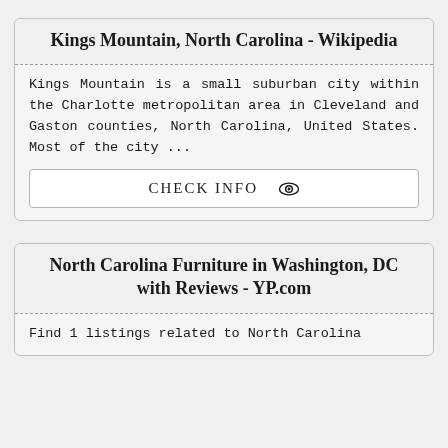Kings Mountain, North Carolina - Wikipedia
Kings Mountain is a small suburban city within the Charlotte metropolitan area in Cleveland and Gaston counties, North Carolina, United States. Most of the city ...
CHECK INFO ◎
North Carolina Furniture in Washington, DC with Reviews - YP.com
Find 1 listings related to North Carolina